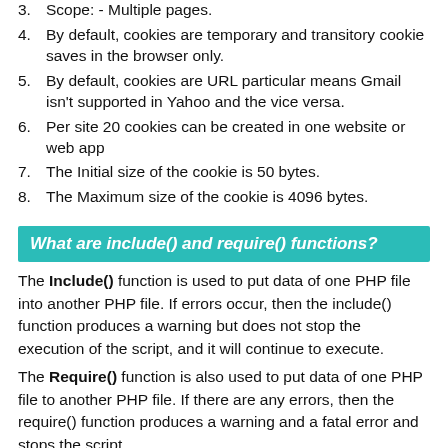3. Scope: - Multiple pages.
4. By default, cookies are temporary and transitory cookie saves in the browser only.
5. By default, cookies are URL particular means Gmail isn't supported in Yahoo and the vice versa.
6. Per site 20 cookies can be created in one website or web app
7. The Initial size of the cookie is 50 bytes.
8. The Maximum size of the cookie is 4096 bytes.
What are include() and require() functions?
The Include() function is used to put data of one PHP file into another PHP file. If errors occur, then the include() function produces a warning but does not stop the execution of the script, and it will continue to execute.
The Require() function is also used to put data of one PHP file to another PHP file. If there are any errors, then the require() function produces a warning and a fatal error and stops the script.